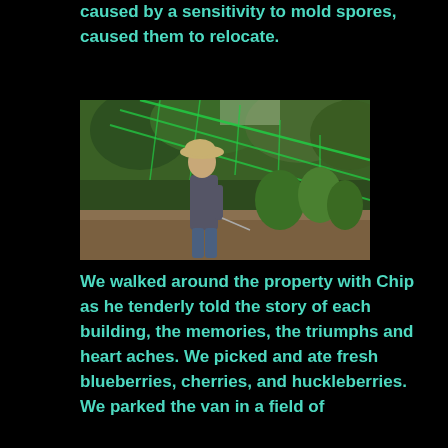caused by a sensitivity to mold spores, caused them to relocate.
[Figure (photo): A man wearing a wide-brimmed hat and grey t-shirt stands in profile next to a green mesh/netting fence in an outdoor garden or farm setting with green plants and trees visible in the background.]
We walked around the property with Chip as he tenderly told the story of each building, the memories, the triumphs and heart aches. We picked and ate fresh blueberries, cherries, and huckleberries. We parked the van in a field of